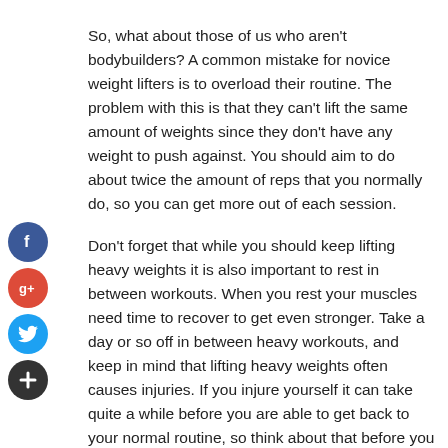So, what about those of us who aren't bodybuilders? A common mistake for novice weight lifters is to overload their routine. The problem with this is that they can't lift the same amount of weights since they don't have any weight to push against. You should aim to do about twice the amount of reps that you normally do, so you can get more out of each session.
Don't forget that while you should keep lifting heavy weights it is also important to rest in between workouts. When you rest your muscles need time to recover to get even stronger. Take a day or so off in between heavy workouts, and keep in mind that lifting heavy weights often causes injuries. If you injure yourself it can take quite a while before you are able to get back to your normal routine, so think about that before you get the idea of pushing your body too hard. It's important to get enough rest